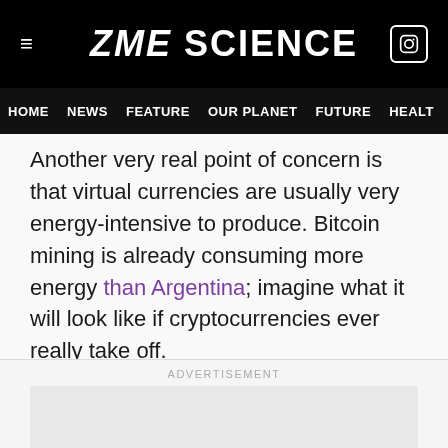ZME SCIENCE
HOME | NEWS | FEATURE | OUR PLANET | FUTURE | HEALTH
Another very real point of concern is that virtual currencies are usually very energy-intensive to produce. Bitcoin mining is already consuming more energy than Argentina; imagine what it will look like if cryptocurrencies ever really take off.
Judging from how things are shaping up, we won’t have to imagine it for much longer, however.
ADVERTISEMENT